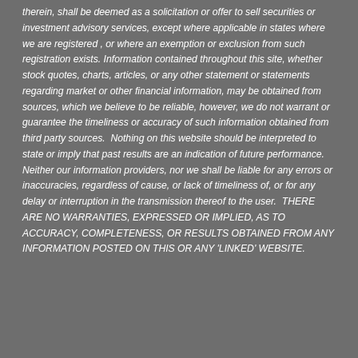therein, shall be deemed as a solicitation or offer to sell securities or investment advisory services, except where applicable in states where we are registered , or where an exemption or exclusion from such registration exists. Information contained throughout this site, whether stock quotes, charts, articles, or any other statement or statements regarding market or other financial information, may be obtained from sources, which we believe to be reliable, however, we do not warrant or guarantee the timeliness or accuracy of such information obtained from third party sources. Nothing on this website should be interpreted to state or imply that past results are an indication of future performance. Neither our information providers, nor we shall be liable for any errors or inaccuracies, regardless of cause, or lack of timeliness of, or for any delay or interruption in the transmission thereof to the user. THERE ARE NO WARRANTIES, EXPRESSED OR IMPLIED, AS TO ACCURACY, COMPLETENESS, OR RESULTS OBTAINED FROM ANY INFORMATION POSTED ON THIS OR ANY 'LINKED' WEBSITE.